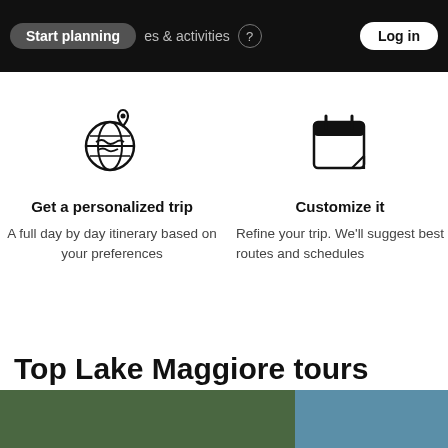Start planning | experiences & activities | Log in
[Figure (illustration): Globe with location pin icon representing personalized trip planning]
Get a personalized trip
A full day by day itinerary based on your preferences
[Figure (illustration): Calendar icon representing trip customization]
Customize it
Refine your trip. We'll suggest best routes and schedules
Top Lake Maggiore tours
[Figure (photo): Green forested landscape photo on the left and blue water/sky photo on the right at the bottom of the page]